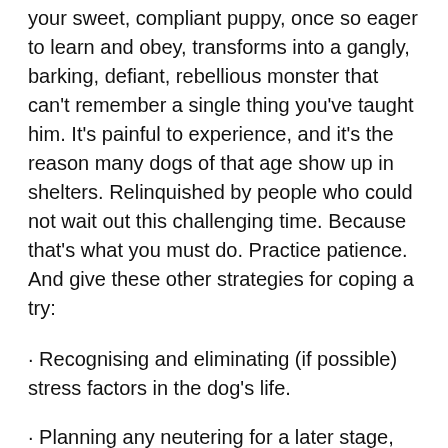your sweet, compliant puppy, once so eager to learn and obey, transforms into a gangly, barking, defiant, rebellious monster that can't remember a single thing you've taught him. It's painful to experience, and it's the reason many dogs of that age show up in shelters. Relinquished by people who could not wait out this challenging time. Because that's what you must do. Practice patience. And give these other strategies for coping a try:
· Recognising and eliminating (if possible) stress factors in the dog's life.
· Planning any neutering for a later stage, when the dog has gone through physical and psychological changes that come with adolescence. Doing it too early can cause behavioural problems later.
· Give the dog correct exercise for size and physiology—